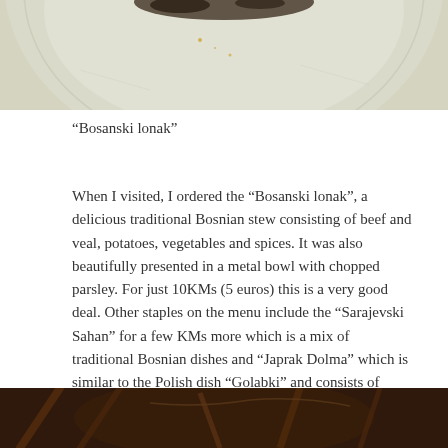[Figure (photo): Top portion of a ceramic plate with pale greenish-white glaze, partially cropped at top of page]
“Bosanski lonak”
When I visited, I ordered the “Bosanski lonak”, a delicious traditional Bosnian stew consisting of beef and veal, potatoes, vegetables and spices. It was also beautifully presented in a metal bowl with chopped parsley. For just 10KMs (5 euros) this is a very good deal. Other staples on the menu include the “Sarajevski Sahan” for a few KMs more which is a mix of traditional Bosnian dishes and “Japrak Dolma” which is similar to the Polish dish “Golabki” and consists of minced meat, veg and rice wrapped in cabbage leaves.
[Figure (photo): Bottom portion showing wooden elements, partially cropped at bottom of page]